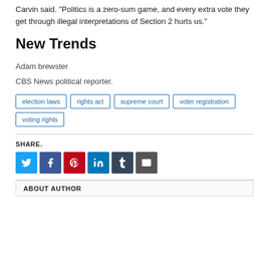Carvin said. "Politics is a zero-sum game, and every extra vote they get through illegal interpretations of Section 2 hurts us."
New Trends
Adam brewster
CBS News political reporter.
election laws
rights act
supreme court
voter registration
voting rights
SHARE.
[Figure (infographic): Social share buttons: Twitter (blue), Facebook (dark blue), Pinterest (red), LinkedIn (blue), Tumblr (dark navy), Email (gray)]
ABOUT AUTHOR